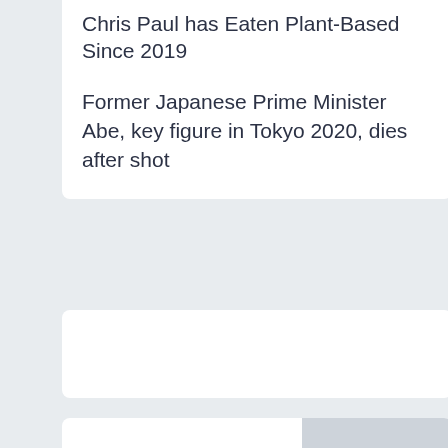Chris Paul has Eaten Plant-Based Since 2019
Former Japanese Prime Minister Abe, key figure in Tokyo 2020, dies after shot
[Figure (other): Empty white card placeholder]
[Figure (other): Gray image placeholder in bottom card]
Popular Posts
Megan Thee Stallion Suka Manga Shonen, Ini Jagoannya!